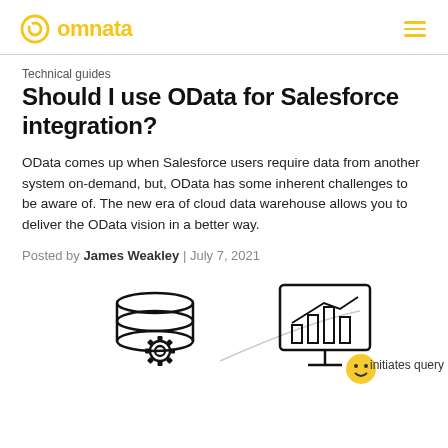omnata
Technical guides
Should I use OData for Salesforce integration?
OData comes up when Salesforce users require data from another system on-demand, but, OData has some inherent challenges to be aware of. The new era of cloud data warehouse allows you to deliver the OData vision in a better way.
Posted by James Weakley | July 7, 2021
[Figure (illustration): Technical illustration showing a database with gear icon on the left and a analytics/chart monitor icon on the right, with a small emoji face, and text 'initiates query'. Part of an OData/Salesforce integration diagram.]